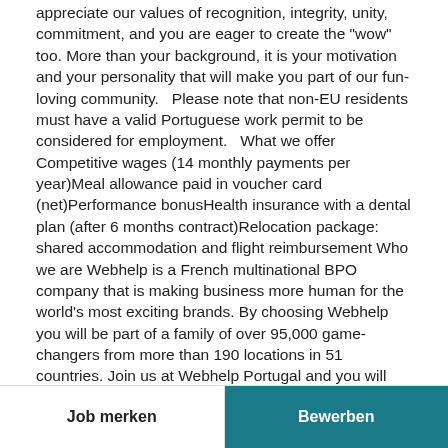appreciate our values of recognition, integrity, unity, commitment, and you are eager to create the "wow" too. More than your background, it is your motivation and your personality that will make you part of our fun-loving community.   Please note that non-EU residents must have a valid Portuguese work permit to be considered for employment.   What we offer Competitive wages (14 monthly payments per year)Meal allowance paid in voucher card (net)Performance bonusHealth insurance with a dental plan (after 6 months contract)Relocation package: shared accommodation and flight reimbursement Who we are Webhelp is a French multinational BPO company that is making business more human for the world's most exciting brands. By choosing Webhelp you will be part of a family of over 95,000 game-changers from more than 190 locations in 51 countries. Join us at Webhelp Portugal and you will have the opportunity to be part of a multicultural team, a fast-paced environment, and a diverse pool of engaging projects for some of the most progressive B2C and B2B brands worldwide.  If this sounds like you, join us!  Webhelp
Job merken   Bewerben